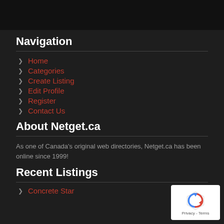Navigation
Home
Categories
Create Listing
Edit Profile
Register
Contact Us
About Netget.ca
As one of Canada's original web directories, Netget.ca has been online since 1999!
Recent Listings
Concrete Star